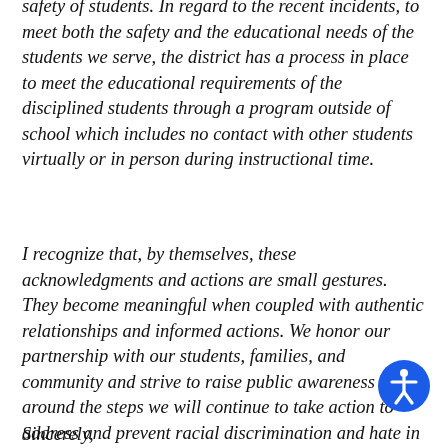safety of students. In regard to the recent incidents, to meet both the safety and the educational needs of the students we serve, the district has a process in place to meet the educational requirements of the disciplined students through a program outside of school which includes no contact with other students virtually or in person during instructional time.
I recognize that, by themselves, these acknowledgments and actions are small gestures. They become meaningful when coupled with authentic relationships and informed actions. We honor our partnership with our students, families, and community and strive to raise public awareness around the steps we will continue to take action to address and prevent racial discrimination and hate in our schools.
Sincerely,
[Figure (illustration): Blue circular accessibility icon showing a stylized person figure with arms outstretched, white symbol on blue background]